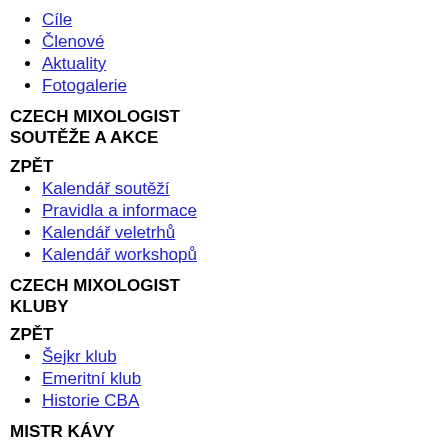Cíle
Členové
Aktuality
Fotogalerie
CZECH MIXOLOGIST SOUTĚŽE A AKCE
ZPĚT
Kalendář soutěží
Pravidla a informace
Kalendář veletrhů
Kalendář workshopů
CZECH MIXOLOGIST KLUBY
ZPĚT
Šejkr klub
Emeritní klub
Historie CBA
MISTR KÁVY